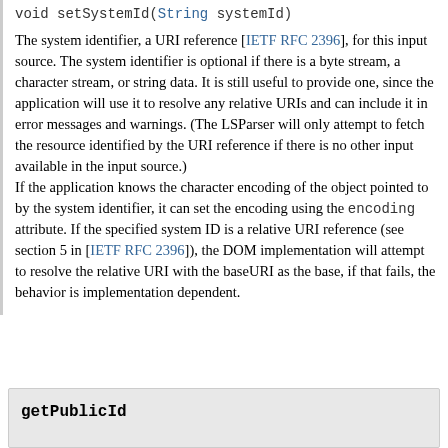void setSystemId(String systemId)
The system identifier, a URI reference [IETF RFC 2396], for this input source. The system identifier is optional if there is a byte stream, a character stream, or string data. It is still useful to provide one, since the application will use it to resolve any relative URIs and can include it in error messages and warnings. (The LSParser will only attempt to fetch the resource identified by the URI reference if there is no other input available in the input source.) If the application knows the character encoding of the object pointed to by the system identifier, it can set the encoding using the encoding attribute. If the specified system ID is a relative URI reference (see section 5 in [IETF RFC 2396]), the DOM implementation will attempt to resolve the relative URI with the baseURI as the base, if that fails, the behavior is implementation dependent.
getPublicId